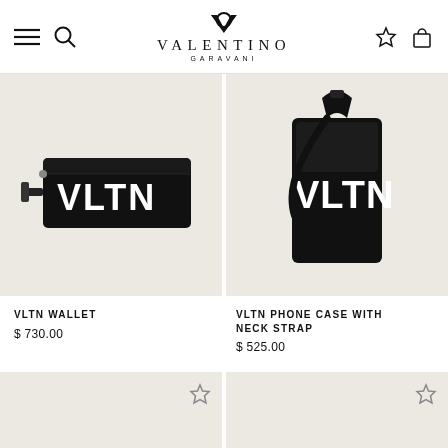VALENTINO GARAVANI
[Figure (photo): VLTN black leather wallet with white VLTN logo and crossbody strap on beige background]
[Figure (photo): VLTN black leather phone case with neck strap and white VLTN logo on beige background]
VLTN WALLET
$ 730.00
VLTN PHONE CASE WITH NECK STRAP
$ 525.00
[Figure (other): Empty product tile with wishlist star icon]
[Figure (other): Empty product tile with wishlist star icon]